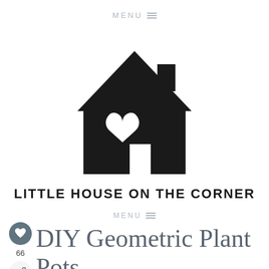MENU ☰
[Figure (logo): Black silhouette house icon with a heart cutout and chimney, logo for Little House on the Corner]
LITTLE HOUSE ON THE CORNER
MENU ☰
DIY Geometric Plant Pots